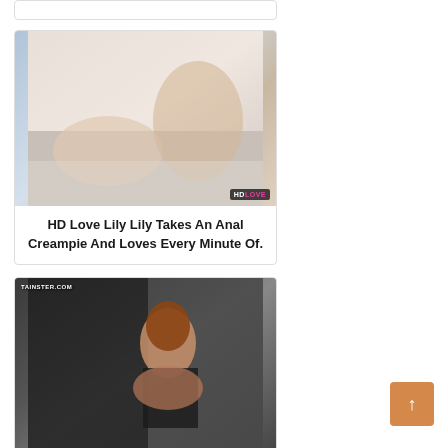[Figure (photo): Partial card/link at top of page, cropped]
[Figure (photo): HD Love thumbnail image showing adult content with HDLOVE watermark]
HD Love Lily Lily Takes An Anal Creampie And Loves Every Minute Of.
[Figure (photo): Tainster.com thumbnail image showing adult content with TAINSTER.COM watermark]
Slime Wave Hair Spray Slut Naughty Babe Using Hair Spray In.